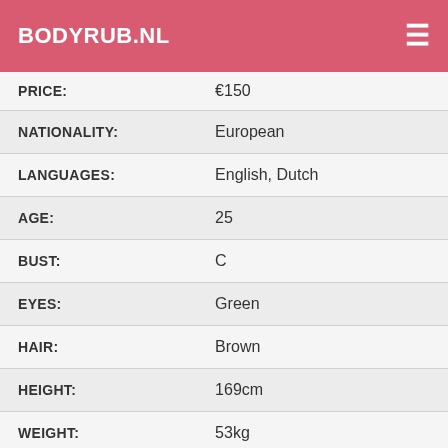BODYRUB.NL
| PRICE: | €150 |
| NATIONALITY: | European |
| LANGUAGES: | English, Dutch |
| AGE: | 25 |
| BUST: | C |
| EYES: | Green |
| HAIR: | Brown |
| HEIGHT: | 169cm |
| WEIGHT: | 53kg |